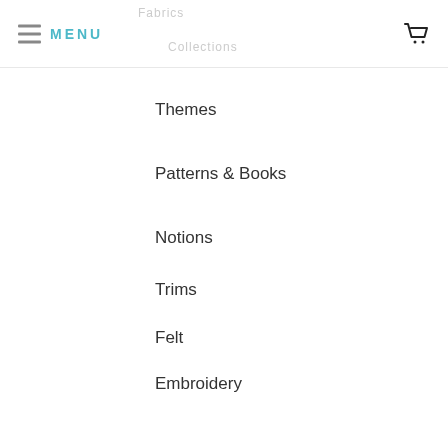MENU
Themes
Patterns & Books
Notions
Trims
Felt
Embroidery
ABOUT BUNBURY
Located in Southern California, Bunbury is an online quilt shop for people who daydream about fabrics and patterns and find happiness in making beautiful things. It’s an escape, a place where you’re welcome to get inspired, plan your next sewing project, and browse the latest trends.